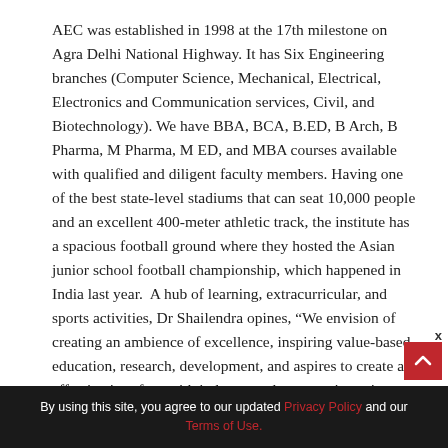AEC was established in 1998 at the 17th milestone on Agra Delhi National Highway. It has Six Engineering branches (Computer Science, Mechanical, Electrical, Electronics and Communication services, Civil, and Biotechnology). We have BBA, BCA, B.ED, B Arch, B Pharma, M Pharma, M ED, and MBA courses available with qualified and diligent faculty members. Having one of the best state-level stadiums that can seat 10,000 people and an excellent 400-meter athletic track, the institute has a spacious football ground where they hosted the Asian junior school football championship, which happened in India last year.  A hub of learning, extracurricular, and sports activities, Dr Shailendra opines, “We envision of creating an ambience of excellence, inspiring value-based education, research, development, and aspires to create an effective interface with industry and community to impart quality education at par with the best in the country”.
By using this site, you agree to our updated Privacy Policy and our Terms of Use.